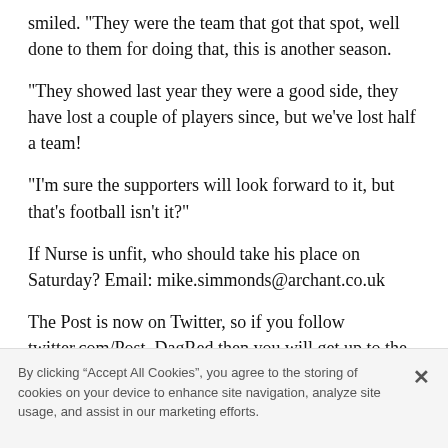smiled. "They were the team that got that spot, well done to them for doing that, this is another season.
"They showed last year they were a good side, they have lost a couple of players since, but we've lost half a team!
"I'm sure the supporters will look forward to it, but that's football isn't it?"
If Nurse is unfit, who should take his place on Saturday? Email: mike.simmonds@archant.co.uk
The Post is now on Twitter, so if you follow twitter.com/Post_DagRed then you will get up to the minute updates on goings on at Victoria Road.
By clicking “Accept All Cookies”, you agree to the storing of cookies on your device to enhance site navigation, analyze site usage, and assist in our marketing efforts.